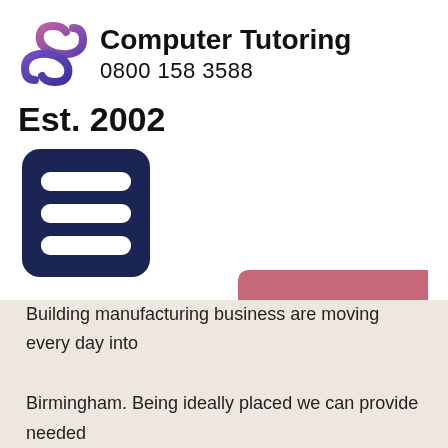[Figure (logo): Computer Tutoring logo with stylized S shape in purple/pink gradient]
Computer Tutoring
0800 158 3588
Est. 2002
[Figure (infographic): Hamburger menu icon: dark navy rounded rectangle with three white horizontal bars]
[Figure (infographic): Pink/rose colored button (partially visible, no text)]
Course Search
Building manufacturing business are moving every day into

Birmingham. Being ideally placed we can provide needed